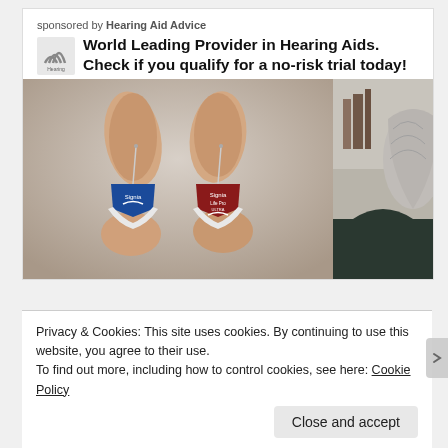sponsored by Hearing Aid Advice
World Leading Provider in Hearing Aids. Check if you qualify for a no-risk trial today!
[Figure (photo): Two small hearing aids (one blue, one red/maroon, both branded Signia) being held between fingers against a blurred background, with a partial image of a person with grey hair on the right side.]
Privacy & Cookies: This site uses cookies. By continuing to use this website, you agree to their use.
To find out more, including how to control cookies, see here: Cookie Policy
Close and accept